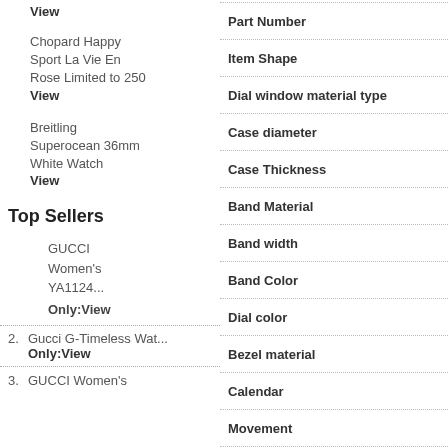View
Chopard Happy Sport La Vie En Rose Limited to 250 View
Breitling Superocean 36mm White Watch View
Top Sellers
GUCCI Women's YA1124... Only:View
2. Gucci G-Timeless Wat... Only:View
3. GUCCI Women's
Part Number
Item Shape
Dial window material type
Case diameter
Case Thickness
Band Material
Band width
Band Color
Dial color
Bezel material
Calendar
Movement
Water resistant depth
Display Type